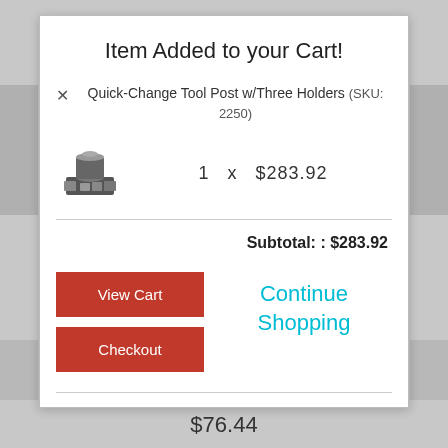Item Added to your Cart!
Quick-Change Tool Post w/Three Holders (SKU: 2250)
1  x  $283.92
Subtotal: : $283.92
View Cart
Continue Shopping
Checkout
$76.44